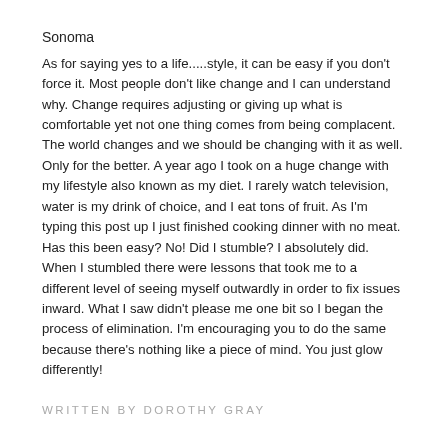Sonoma
As for saying yes to a life.....style, it can be easy if you don't force it. Most people don't like change and I can understand why. Change requires adjusting or giving up what is comfortable yet not one thing comes from being complacent. The world changes and we should be changing with it as well. Only for the better. A year ago I took on a huge change with my lifestyle also known as my diet. I rarely watch television, water is my drink of choice, and I eat tons of fruit. As I'm typing this post up I just finished cooking dinner with no meat. Has this been easy? No! Did I stumble? I absolutely did. When I stumbled there were lessons that took me to a different level of seeing myself outwardly in order to fix issues inward. What I saw didn't please me one bit so I began the process of elimination. I'm encouraging you to do the same because there's nothing like a piece of mind. You just glow differently!
WRITTEN BY DOROTHY GRAY